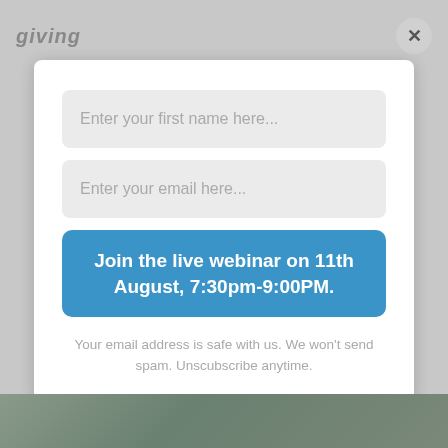giving
Enter your first name here...
Enter your email here...
Join the live webinar on 11th August, 7:30pm-9:00PM.
Your email address is safe with us. We won't send spam. Unscubscribe anytime.